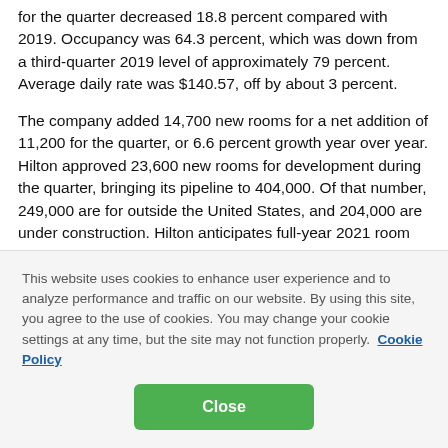for the quarter decreased 18.8 percent compared with 2019. Occupancy was 64.3 percent, which was down from a third-quarter 2019 level of approximately 79 percent. Average daily rate was $140.57, off by about 3 percent.
The company added 14,700 new rooms for a net addition of 11,200 for the quarter, or 6.6 percent growth year over year. Hilton approved 23,600 new rooms for development during the quarter, bringing its pipeline to 404,000. Of that number, 249,000 are for outside the United States, and 204,000 are under construction. Hilton anticipates full-year 2021 room growth to
This website uses cookies to enhance user experience and to analyze performance and traffic on our website. By using this site, you agree to the use of cookies. You may change your cookie settings at any time, but the site may not function properly.  Cookie Policy